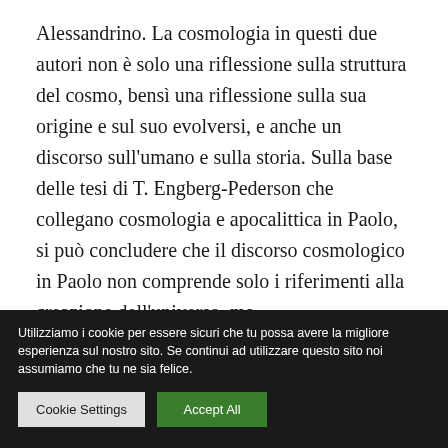Alessandrino. La cosmologia in questi due autori non è solo una riflessione sulla struttura del cosmo, bensì una riflessione sulla sua origine e sul suo evolversi, e anche un discorso sull'umano e sulla storia. Sulla base delle tesi di T. Engberg-Pederson che collegano cosmologia e apocalittica in Paolo, si può concludere che il discorso cosmologico in Paolo non comprende solo i riferimenti alla creazione dell'universo, ma
Utilizziamo i cookie per essere sicuri che tu possa avere la migliore esperienza sul nostro sito. Se continui ad utilizzare questo sito noi assumiamo che tu ne sia felice.
Cookie Settings
Accept All